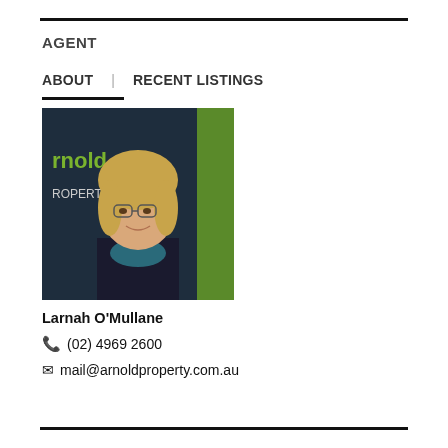AGENT
ABOUT    RECENT LISTINGS
[Figure (photo): Professional headshot of Larnah O'Mullane, a woman with blonde wavy hair and glasses, wearing a dark blazer and teal scarf, standing in front of an Arnold Property branded backdrop]
Larnah O'Mullane
☎ (02) 4969 2600
✉ mail@arnoldproperty.com.au